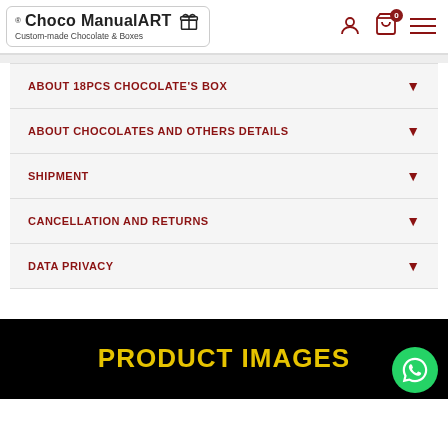[Figure (logo): Choco ManualART logo with gift box icon and tagline 'Custom-made Chocolate & Boxes', registered trademark symbol]
ABOUT 18PCS CHOCOLATE'S BOX
ABOUT CHOCOLATES AND OTHERS DETAILS
SHIPMENT
CANCELLATION AND RETURNS
DATA PRIVACY
PRODUCT IMAGES